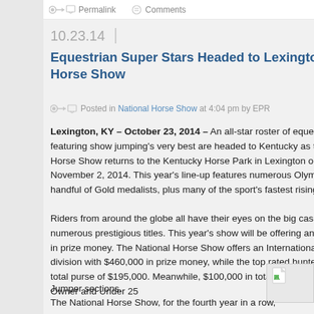Permalink   Comments
10.23.14
Equestrian Super Stars Headed to Lexington for 2014 National Horse Show
Posted in National Horse Show at 4:04 pm by EPR
Lexington, KY – October 23, 2014 – An all-star roster of equestrian super stars featuring show jumping's very best are headed to Kentucky as the top-rated National Horse Show returns to the Kentucky Horse Park in Lexington on October 2–November 2, 2014. This year's line-up features numerous Olympians, including a handful of Gold medalists, plus many of the sport's fastest rising stars.
Riders from around the globe all have their eyes on the big cash prizes and numerous prestigious titles. This year's show will be offering an impressive in prize money. The National Horse Show offers an International Open Jumper division with $460,000 in prize money, while the top rated hunter sections bring a total purse of $195,000. Meanwhile, $100,000 in total is offered to the Amateur Owner and Under 25
Jumper sections.
The National Horse Show, for the fourth year in a row, received a top ranking from NARG, the North American
[Figure (photo): Small image placeholder with broken image icon]